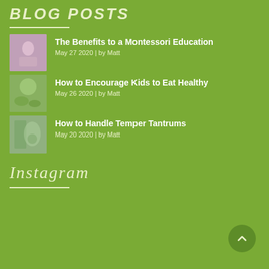Blog Posts
The Benefits to a Montessori Education | May 27 2020 | by Matt
How to Encourage Kids to Eat Healthy | May 26 2020 | by Matt
How to Handle Temper Tantrums | May 20 2020 | by Matt
Instagram